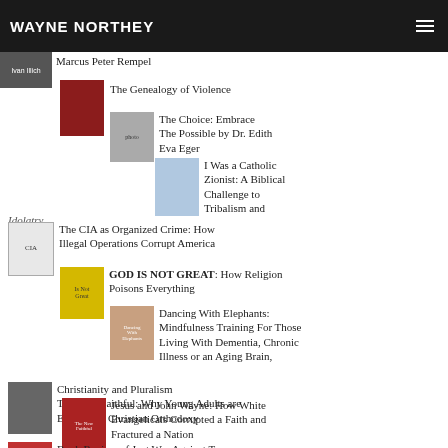WAYNE NORTHEY
Marcus Peter Rempel
The Genealogy of Violence
The Choice: Embrace The Possible by Dr. Edith Eva Eger
I Was a Catholic Zionist: A Biblical Challenge to Tribalism and Idolatry
The CIA as Organized Crime: How Illegal Operations Corrupt America
GOD IS NOT GREAT: How Religion Poisons Everything
Dancing With Elephants: Mindfulness Training For Those Living With Dementia, Chronic Illness or an Aging Brain, Christianity and Pluralism
The New Faithful: Why Young Adults are Embracing Christian Orthodoxy
Jesus and John Wayne: How White Evangelicals Corrupted a Faith and Fractured a Nation
Book Review of Just War Against Terror: The Burden of American Power in a Violent World
Writing Straight with Crooked Lines: A Memoir